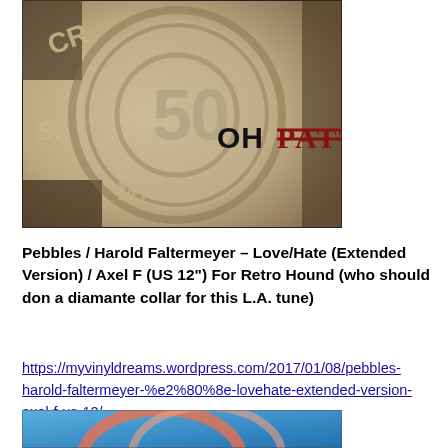[Figure (photo): Album cover photo showing an embossed coin/medallion with text 'CR...50 MILES' visible, and overlaid text 'OHPATTI' where 'OH' is in black and 'PATTI' is in red/dark red stamp-style letters, on a beige/stone background]
Pebbles / Harold Faltermeyer – Love/Hate (Extended Version) / Axel F (US 12") For Retro Hound (who should don a diamante collar for this L.A. tune)
https://myvinyldreams.wordpress.com/2017/01/08/pebbles-harold-faltermeyer-%e2%80%8e-lovehate-extended-version-axel-f-us-12/
[Figure (photo): Partial view of another album cover showing a blue background with circular/hoop design in pink/orange tones, partially cut off at bottom of page]